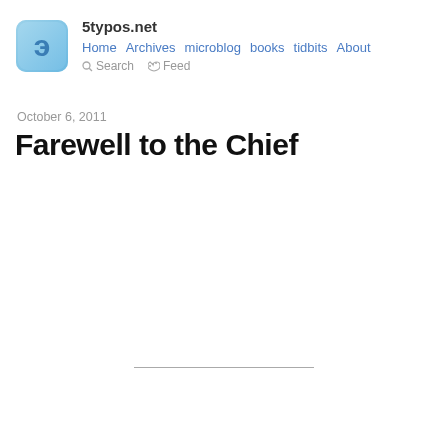5typos.net — Home Archives microblog books tidbits About Search Feed
October 6, 2011
Farewell to the Chief